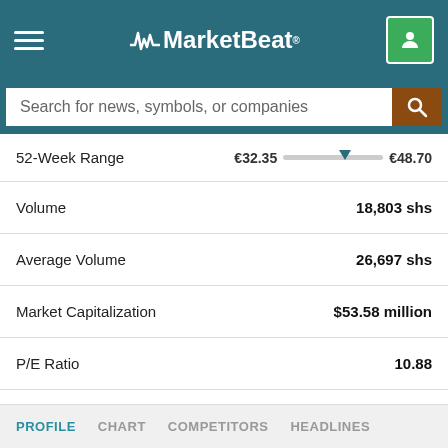MarketBeat
Search for news, symbols, or companies
| Metric | Value |
| --- | --- |
| 52-Week Range | €32.35 — €48.70 |
| Volume | 18,803 shs |
| Average Volume | 26,697 shs |
| Market Capitalization | $53.58 million |
| P/E Ratio | 10.88 |
| Dividend Yield | 2.34% |
| Price Target | N/A |
PROFILE  CHART  COMPETITORS  HEADLINES